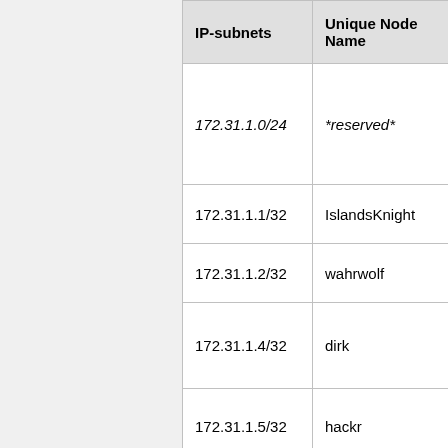| IP-subnets | Unique Node Name | [truncated] |
| --- | --- | --- |
| 172.31.1.0/24 | *reserved* | s[truncated] |
| 172.31.1.1/32 | IslandsKnight | Is[truncated] |
| 172.31.1.2/32 | wahrwolf | w[truncated] |
| 172.31.1.4/32 | dirk | au[truncated] |
| 172.31.1.5/32 | hackr | 5[truncated] |